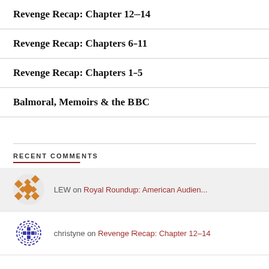Revenge Recap: Chapter 12–14
Revenge Recap: Chapters 6-11
Revenge Recap: Chapters 1-5
Balmoral, Memoirs & the BBC
RECENT COMMENTS
LEW on Royal Roundup: American Audien...
christyne on Revenge Recap: Chapter 12–14